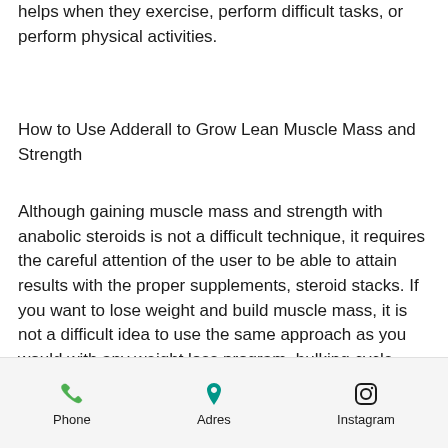helps when they exercise, perform difficult tasks, or perform physical activities.
How to Use Adderall to Grow Lean Muscle Mass and Strength
Although gaining muscle mass and strength with anabolic steroids is not a difficult technique, it requires the careful attention of the user to be able to attain results with the proper supplements, steroid stacks. If you want to lose weight and build muscle mass, it is not a difficult idea to use the same approach as you would with any weight loss program, bulking cycle training. In fact, getting a diet for dieting can help with both the weight loss and building body weight.
If you are a male and are interested in
Phone   Adres   Instagram